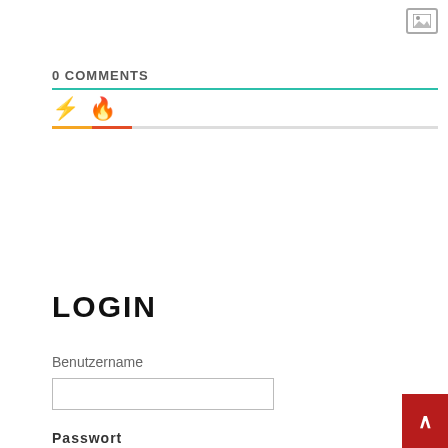[Figure (other): Small image/photo placeholder icon in top-right corner]
0 COMMENTS
[Figure (infographic): Tab icons row with lightning bolt (yellow) and fire/flame (red-orange) icons on a teal underline, with tab indicator bar below]
LOGIN
Benutzername
[Figure (other): Empty text input field for Benutzername (username)]
Passwort